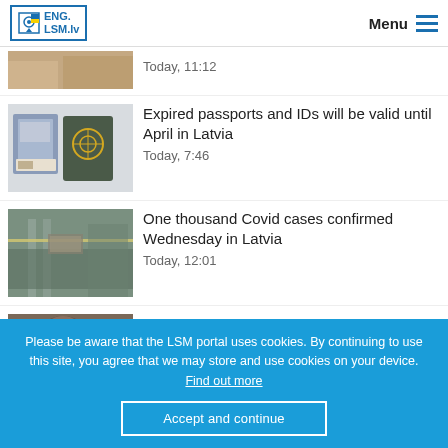ENG.LSM.lv — Menu
Today, 11:12
Expired passports and IDs will be valid until April in Latvia
Today, 7:46
One thousand Covid cases confirmed Wednesday in Latvia
Today, 12:01
Bear-able photos can enter into
Please be aware that the LSM portal uses cookies. By continuing to use this site, you agree that we may store and use cookies on your device. Find out more
Accept and continue